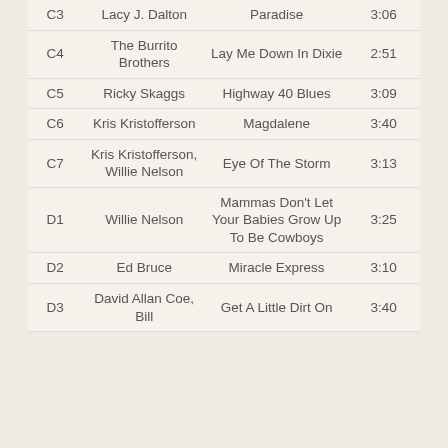| Track | Artist | Song | Time |
| --- | --- | --- | --- |
| C3 | Lacy J. Dalton | Paradise | 3:06 |
| C4 | The Burrito Brothers | Lay Me Down In Dixie | 2:51 |
| C5 | Ricky Skaggs | Highway 40 Blues | 3:09 |
| C6 | Kris Kristofferson | Magdalene | 3:40 |
| C7 | Kris Kristofferson, Willie Nelson | Eye Of The Storm | 3:13 |
| D1 | Willie Nelson | Mammas Don't Let Your Babies Grow Up To Be Cowboys | 3:25 |
| D2 | Ed Bruce | Miracle Express | 3:10 |
| D3 | David Allan Coe, Bill | Get A Little Dirt On | 3:40 |